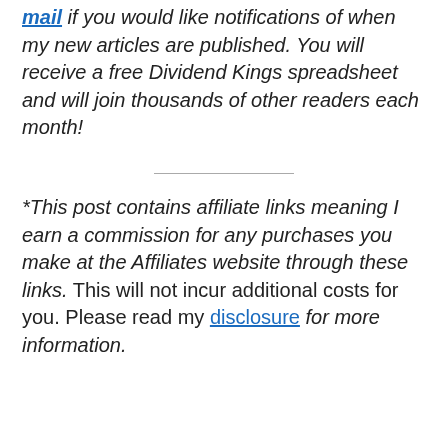mail if you would like notifications of when my new articles are published. You will receive a free Dividend Kings spreadsheet and will join thousands of other readers each month!
*This post contains affiliate links meaning I earn a commission for any purchases you make at the Affiliates website through these links. This will not incur additional costs for you. Please read my disclosure for more information.